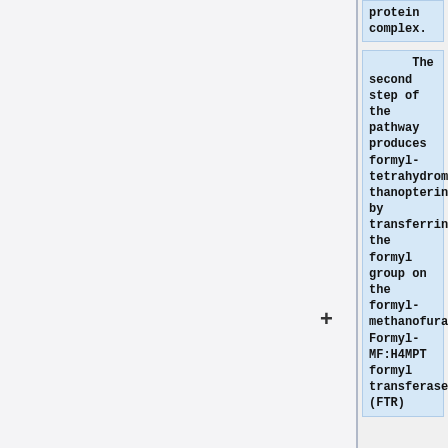protein complex.
The second step of the pathway produces formyl-tetrahydromethanopterin by transferring the formyl group on the formyl-methanofuran. Formyl-MF:H4MPT formyl transferase (FTR)